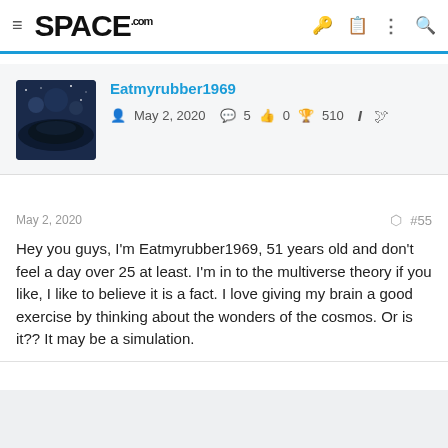SPACE.com
Eatmyrubber1969
May 2, 2020  5  0  510
May 2, 2020  #55
Hey you guys, I'm Eatmyrubber1969, 51 years old and don't feel a day over 25 at least. I'm in to the multiverse theory if you like, I like to believe it is a fact. I love giving my brain a good exercise by thinking about the wonders of the cosmos. Or is it?? It may be a simulation.